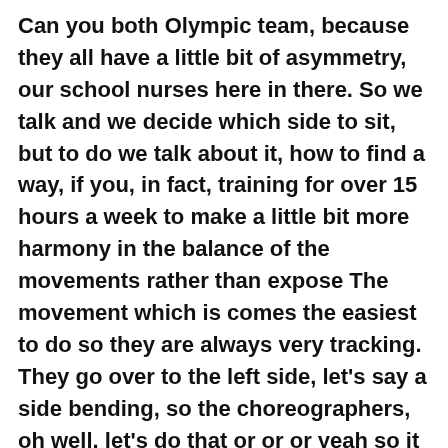Can you both Olympic team, because they all have a little bit of asymmetry, our school nurses here in there. So we talk and we decide which side to sit, but to do we talk about it, how to find a way, if you, in fact, training for over 15 hours a week to make a little bit more harmony in the balance of the movements rather than expose The movement which is comes the easiest to do so they are always very tracking. They go over to the left side, let's say a side bending, so the choreographers, oh well, let's do that or or or yeah so it has been successful in some cases. Other cases, if the child is not so keen or the family is flexible, they don't go competitive. They just go for a few hours a week and create a